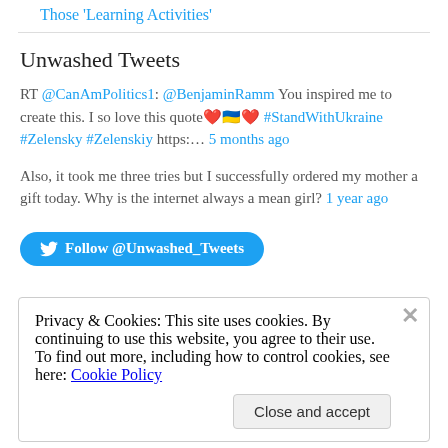Those 'Learning Activities'
Unwashed Tweets
RT @CanAmPolitics1: @BenjaminRamm You inspired me to create this. I so love this quote ❤️🇺🇦❤️ #StandWithUkraine #Zelensky #Zelenskiy https:… 5 months ago
Also, it took me three tries but I successfully ordered my mother a gift today. Why is the internet always a mean girl? 1 year ago
Follow @Unwashed_Tweets
Privacy & Cookies: This site uses cookies. By continuing to use this website, you agree to their use. To find out more, including how to control cookies, see here: Cookie Policy
Close and accept